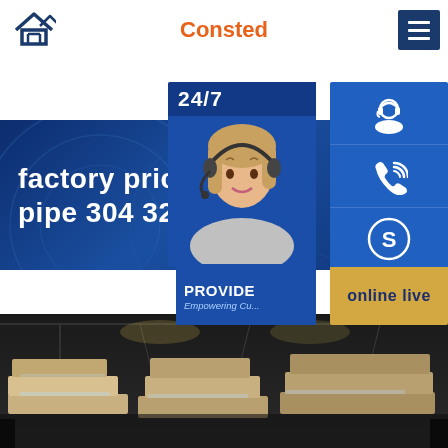[Figure (logo): Consted brand logo with house icon in dark blue and orange text]
factory price stainle... pipe 304 321 316l310
Home >> A572 steel
[Figure (infographic): Customer service sidebar with 24/7 text, woman with headset photo, phone icon button, Skype icon button, and online live button]
[Figure (photo): Dark warehouse interior showing stacked steel pipes/products]